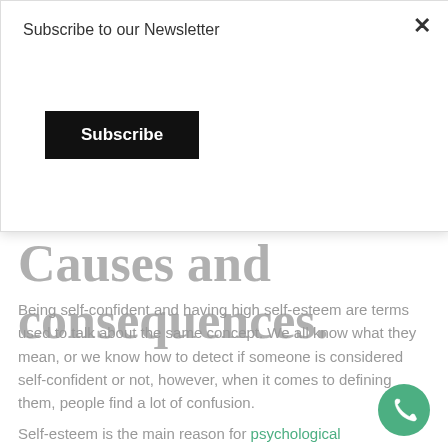Subscribe to our Newsletter
Subscribe
Los self-esteem. Causes and consequences.
Being self-confident and having high self-esteem are terms used to talk about the same concept. We all know what they mean, or we know how to detect if someone is considered self-confident or not, however, when it comes to defining them, people find a lot of confusion.
Self-esteem is the main reason for psychological